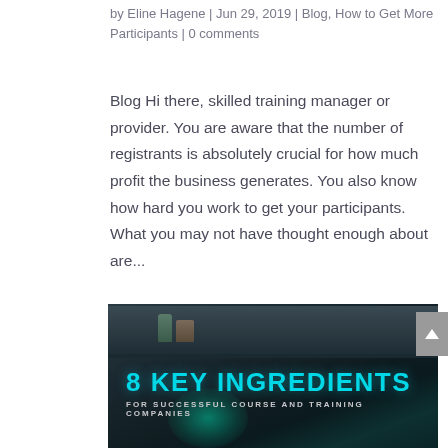by Eline Hagene | Jun 29, 2019 | Blog, How to Get More Participants | 0 comments
Blog Hi there, skilled training manager or provider. You are aware that the number of registrants is absolutely crucial for how much profit the business generates. You also know how hard you work to get your participants. What you may not have thought enough about are...
[Figure (illustration): Dark moody background with vases on a shelf and a glowing teal light from below. Bold cyan text reads '8 KEY INGREDIENTS' with subtitle 'FOR SUCCESSFUL COURSE AND TRAINING COMPANIES'.]